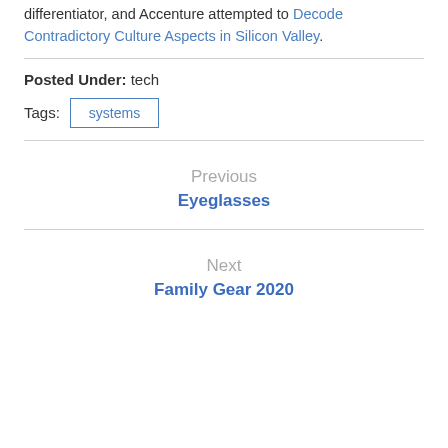differentiator, and Accenture attempted to Decode Contradictory Culture Aspects in Silicon Valley.
Posted Under: tech
Tags: systems
Previous
Eyeglasses
Next
Family Gear 2020